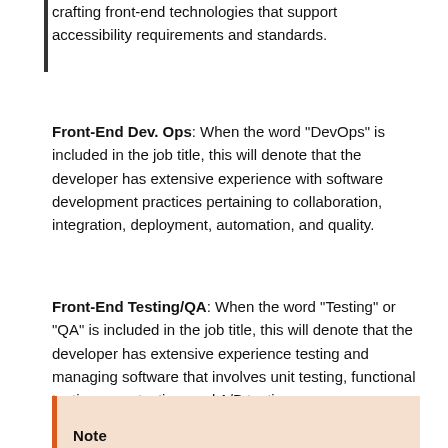crafting front-end technologies that support accessibility requirements and standards.
Front-End Dev. Ops: When the word "DevOps" is included in the job title, this will denote that the developer has extensive experience with software development practices pertaining to collaboration, integration, deployment, automation, and quality.
Front-End Testing/QA: When the word "Testing" or "QA" is included in the job title, this will denote that the developer has extensive experience testing and managing software that involves unit testing, functional testing, user testing, and A/B testing.
Note